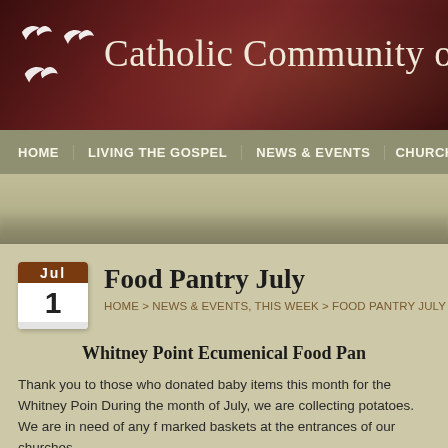Catholic Community of St.
[Figure (logo): White dove/bird silhouettes logo in top left of header]
HOME   LIVING THE GOSPEL   NEWS & EVENTS   CHURCH INFORMA
[Figure (photo): Landscape banner with muted tan/green field scene]
Food Pantry July
HOME > NEWS & EVENTS, THIS WEEK > FOOD PANTRY JULY
Whitney Point Ecumenical Food Pan
Thank you to those who donated baby items this month for the Whitney Poin During the month of July, we are collecting potatoes. We are in need of any f marked baskets at the entrances of our churches.
Thank you for all your food & monetary donation